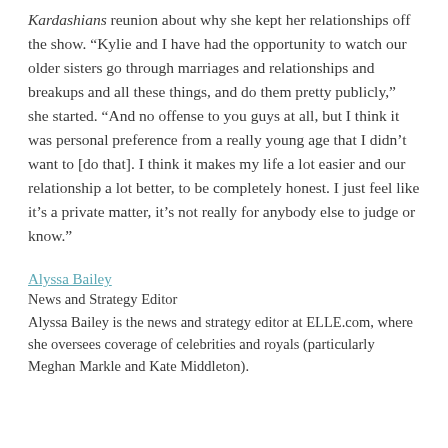Kardashians reunion about why she kept her relationships off the show. “Kylie and I have had the opportunity to watch our older sisters go through marriages and relationships and breakups and all these things, and do them pretty publicly,” she started. “And no offense to you guys at all, but I think it was personal preference from a really young age that I didn’t want to [do that]. I think it makes my life a lot easier and our relationship a lot better, to be completely honest. I just feel like it’s a private matter, it’s not really for anybody else to judge or know.”
Alyssa Bailey
News and Strategy Editor
Alyssa Bailey is the news and strategy editor at ELLE.com, where she oversees coverage of celebrities and royals (particularly Meghan Markle and Kate Middleton).